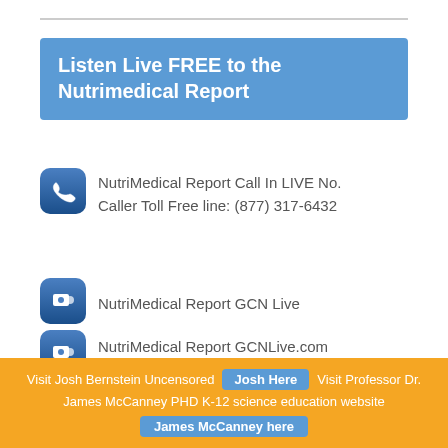Listen Live FREE to the Nutrimedical Report
NutriMedical Report Call In LIVE No. Caller Toll Free line: (877) 317-6432
NutriMedical Report GCN Live
NutriMedical Report GCNLive.com Archives
Brighteon Video
Visit Josh Bernstein Uncensored  Josh Here  Visit Professor Dr. James McCanney PHD K-12 science education website  James McCanney here